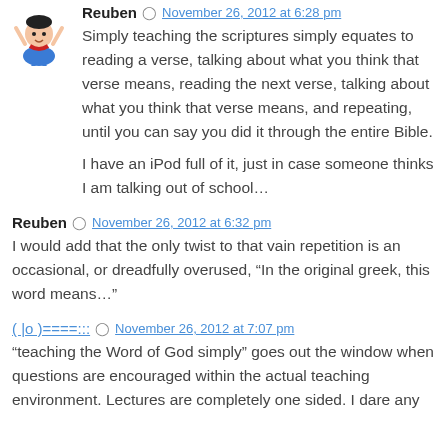Reuben · November 26, 2012 at 6:28 pm
Simply teaching the scriptures simply equates to reading a verse, talking about what you think that verse means, reading the next verse, talking about what you think that verse means, and repeating, until you can say you did it through the entire Bible.

I have an iPod full of it, just in case someone thinks I am talking out of school…
Reuben · November 26, 2012 at 6:32 pm
I would add that the only twist to that vain repetition is an occasional, or dreadfully overused, "In the original greek, this word means…"
( |o )====::: · November 26, 2012 at 7:07 pm
"teaching the Word of God simply" goes out the window when questions are encouraged within the actual teaching environment. Lectures are completely one sided. I dare any